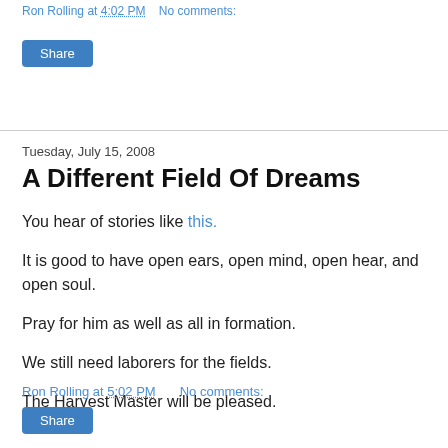Ron Rolling at 4:02 PM   No comments:
Share
Tuesday, July 15, 2008
A Different Field Of Dreams
You hear of stories like this.
It is good to have open ears, open mind, open hear, and open soul.
Pray for him as well as all in formation.
We still need laborers for the fields.
The Harvest Master will be pleased.
Ron Rolling at 5:02 PM   No comments:
Share